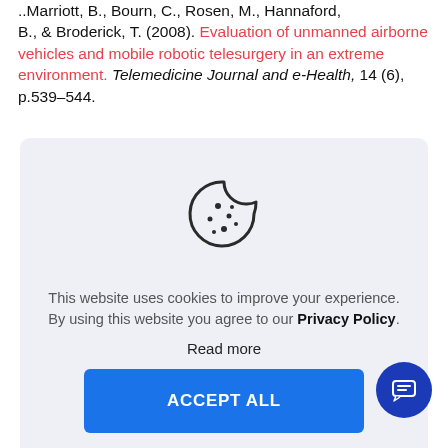..Marriott, B., Bourn, C., Rosen, M., Hannaford, B., & Broderick, T. (2008). Evaluation of unmanned airborne vehicles and mobile robotic telesurgery in an extreme environment. Telemedicine Journal and e-Health, 14 (6), p.539–544.
[Figure (illustration): Cookie icon — a circular cookie with a bite taken out of the upper-right, with dots on its surface]
This website uses cookies to improve your experience. By using this website you agree to our Privacy Policy.
Read more
ACCEPT ALL